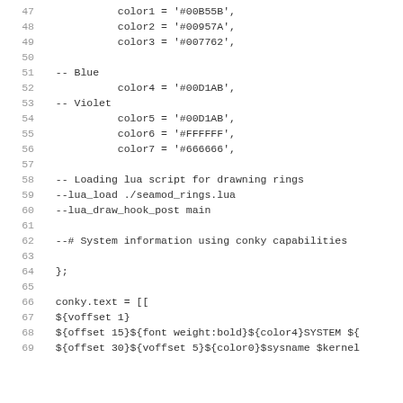Code listing lines 47-69 showing Lua/Conky configuration script with color definitions and system info setup